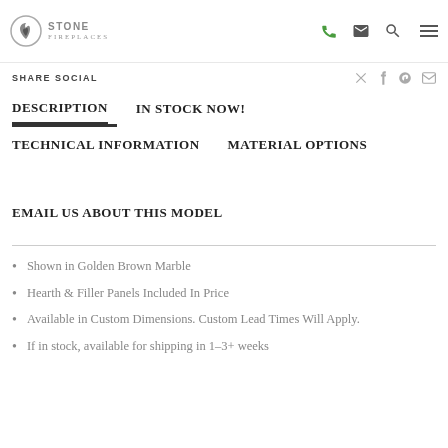[Figure (logo): Stone Fireplaces logo with circular flame icon and company name]
SHARE SOCIAL
DESCRIPTION | IN STOCK NOW!
TECHNICAL INFORMATION | MATERIAL OPTIONS
EMAIL US ABOUT THIS MODEL
Shown in Golden Brown Marble
Hearth & Filler Panels Included In Price
Available in Custom Dimensions. Custom Lead Times Will Apply.
If in stock, available for shipping in 1-3+ weeks